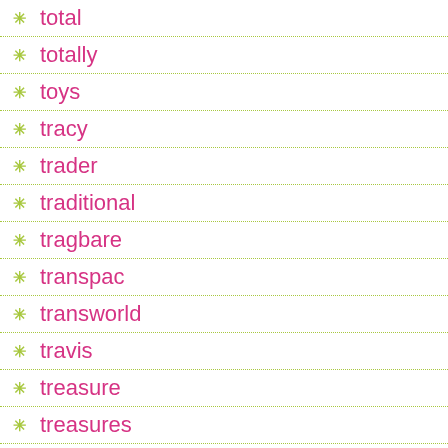total
totally
toys
tracy
trader
traditional
tragbare
transpac
transworld
travis
treasure
treasures
tree
treetopia